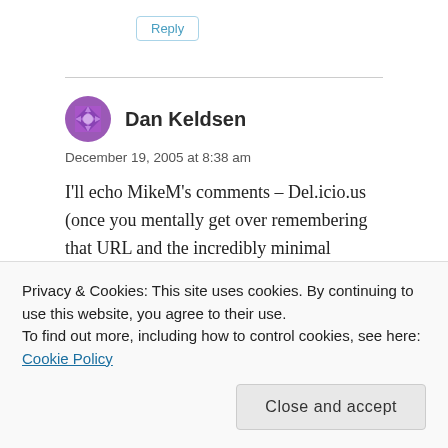Reply
Dan Keldsen
December 19, 2005 at 8:38 am
I'll echo MikeM's comments – Del.icio.us (once you mentally get over remembering that URL and the incredibly minimal interface – although that may
Privacy & Cookies: This site uses cookies. By continuing to use this website, you agree to their use.
To find out more, including how to control cookies, see here: Cookie Policy
Close and accept